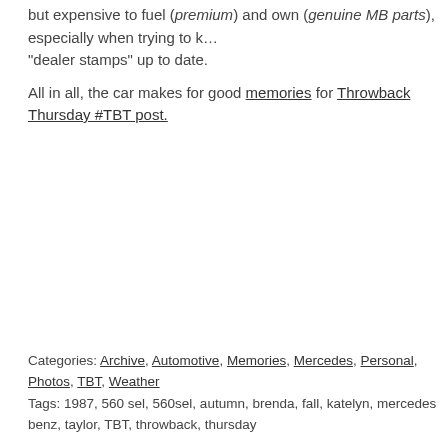but expensive to fuel (premium) and own (genuine MB parts), especially when trying to keep "dealer stamps" up to date.
All in all, the car makes for good memories for Throwback Thursday #TBT post.
Categories: Archive, Automotive, Memories, Mercedes, Personal, Photos, TBT, Weather
Tags: 1987, 560 sel, 560sel, autumn, brenda, fall, katelyn, mercedes benz, taylor, TBT, throwback, thursday